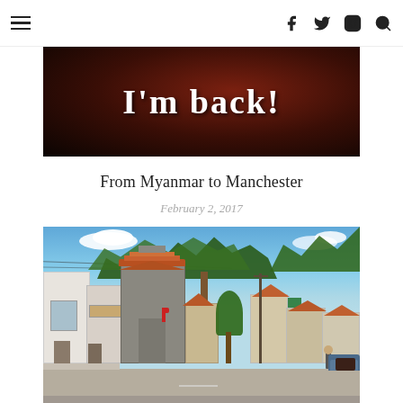Navigation header with hamburger menu and social icons (Facebook, Twitter, Instagram, Search)
[Figure (photo): Dark reddish-brown background with white text reading "I'm back!" in handwritten/chalk style font]
From Myanmar to Manchester
February 2, 2017
[Figure (photo): Balinese street scene with traditional buildings, orange-tiled roofs, tropical trees, shops along the road, blue sky with clouds]